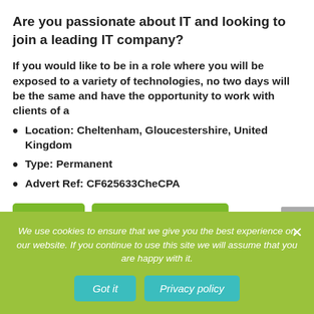Are you passionate about IT and looking to join a leading IT company?
If you would like to be in a role where you will be exposed to a variety of technologies, no two days will be the same and have the opportunity to work with clients of a
Location: Cheltenham, Gloucestershire, United Kingdom
Type: Permanent
Advert Ref: CF625633CheCPA
We use cookies to ensure that we give you the best experience on our website. If you continue to use this site we will assume that you are happy with it.